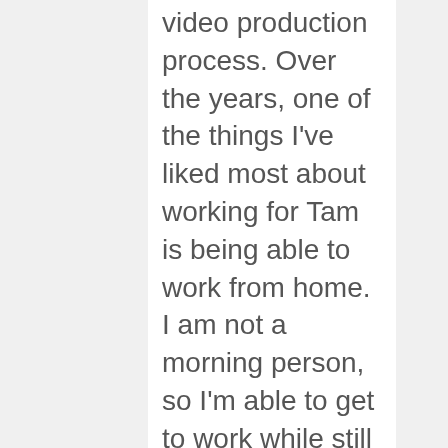video production process. Over the years, one of the things I've liked most about working for Tam is being able to work from home. I am not a morning person, so I'm able to get to work while still in my sweats – and I love not wearing make-up except for the one day a week I might go into the office. In